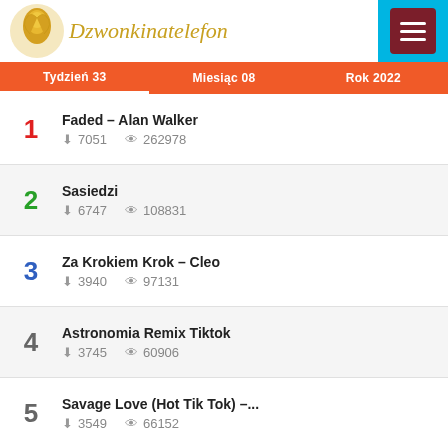Dzwonkinatelefon
Tydzień 33 | Miesiąc 08 | Rok 2022
1. Faded – Alan Walker | downloads: 7051 | views: 262978
2. Sasiedzi | downloads: 6747 | views: 108831
3. Za Krokiem Krok – Cleo | downloads: 3940 | views: 97131
4. Astronomia Remix Tiktok | downloads: 3745 | views: 60906
5. Savage Love (Hot Tik Tok) –... | downloads: 3549 | views: 66152
6. Despacito – Luis Fonsi | downloads: 2703 | views: 100418
7. DOM – Cleo